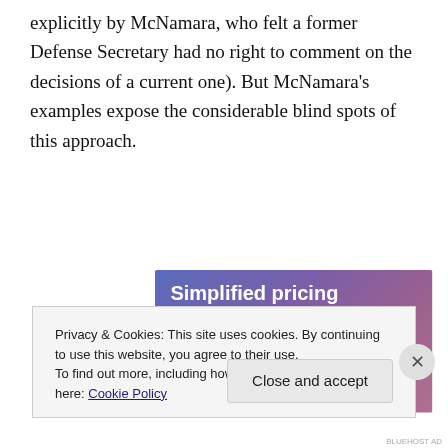explicitly by McNamara, who felt a former Defense Secretary had no right to comment on the decisions of a current one). But McNamara's examples expose the considerable blind spots of this approach.
[Figure (illustration): Advertisement banner with gradient blue-purple background showing 'Simplified pricing for everything you need.' with a pink 'Build Your Website' button and a price tag graphic.]
Privacy & Cookies: This site uses cookies. By continuing to use this website, you agree to their use.
To find out more, including how to control cookies, see here: Cookie Policy